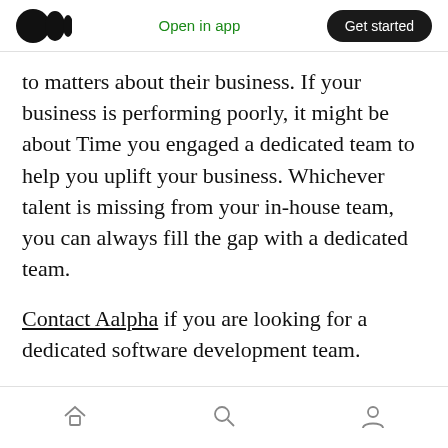Open in app | Get started
to matters about their business. If your business is performing poorly, it might be about Time you engaged a dedicated team to help you uplift your business. Whichever talent is missing from your in-house team, you can always fill the gap with a dedicated team.
Contact Aalpha if you are looking for a dedicated software development team.
Also check: software development outsourcing
Home | Search | Profile